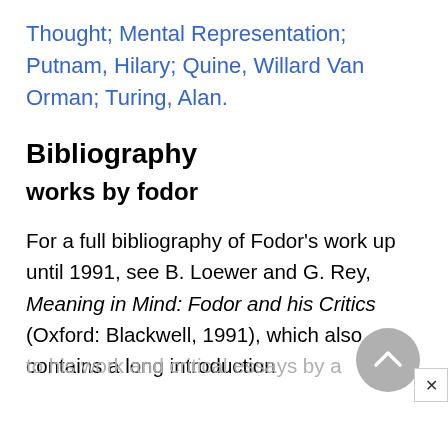Thought; Mental Representation; Putnam, Hilary; Quine, Willard Van Orman; Turing, Alan.
Bibliography
works by fodor
For a full bibliography of Fodor's work up until 1991, see B. Loewer and G. Rey, Meaning in Mind: Fodor and his Critics (Oxford: Blackwell, 1991), which also contains a long introduction
to his work and critical essays by a